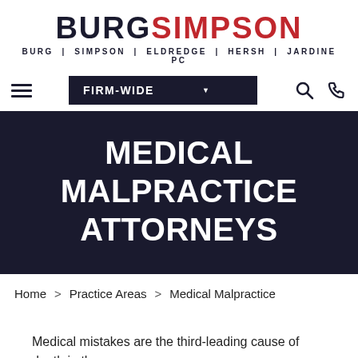BURG SIMPSON — BURG | SIMPSON | ELDREDGE | HERSH | JARDINE PC
[Figure (logo): Burg Simpson law firm logo with BURG in dark navy and SIMPSON in red, bold large text, subtitle: BURG | SIMPSON | ELDREDGE | HERSH | JARDINE PC]
MEDICAL MALPRACTICE ATTORNEYS
Home > Practice Areas > Medical Malpractice
Medical mistakes are the third-leading cause of death in the